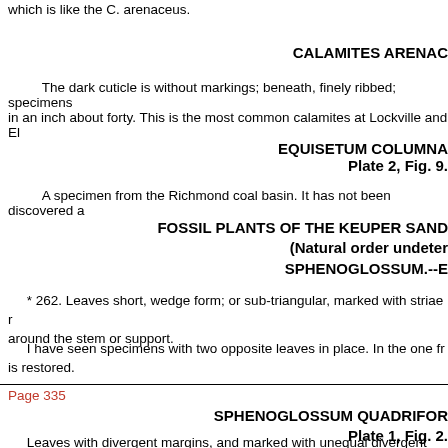which is like the C. arenaceus.
CALAMITES ARENAC
The dark cuticle is without markings; beneath, finely ribbed; specimens in an inch about forty. This is the most common calamites at Lockville and El
EQUISETUM COLUMNA
Plate 2, Fig. 9.
A specimen from the Richmond coal basin. It has not been discovered a
FOSSIL PLANTS OF THE KEUPER SAND
(Natural order undeter
SPHENOGLOSSUM.--E
* 262. Leaves short, wedge form; or sub-triangular, marked with striae r around the stem or support.
I have seen specimens with two opposite leaves in place. In the one fr is restored.
Page 335
SPHENOGLOSSUM QUADRIFOR
Plate 1, Fig. 2.
Leaves with divergent margins, and marked with unequal divergent lines the slight abrasion it has suffered at the centre, renders it uncertain menti